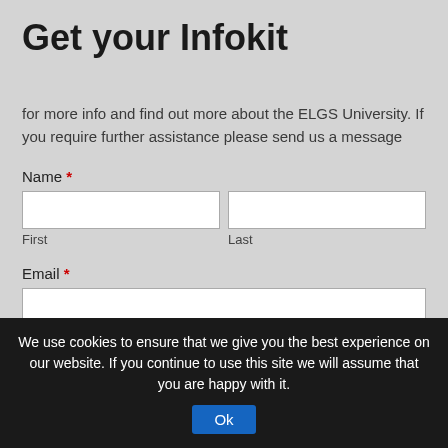Get your Infokit
for more info and find out more about the ELGS University. If you require further assistance please send us a message
Name *
First
Last
Email *
We use cookies to ensure that we give you the best experience on our website. If you continue to use this site we will assume that you are happy with it.